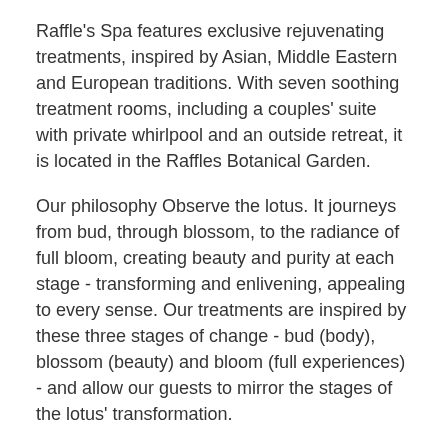Raffle's Spa features exclusive rejuvenating treatments, inspired by Asian, Middle Eastern and European traditions. With seven soothing treatment rooms, including a couples' suite with private whirlpool and an outside retreat, it is located in the Raffles Botanical Garden.
Our philosophy Observe the lotus. It journeys from bud, through blossom, to the radiance of full bloom, creating beauty and purity at each stage - transforming and enlivening, appealing to every sense. Our treatments are inspired by these three stages of change - bud (body), blossom (beauty) and bloom (full experiences) - and allow our guests to mirror the stages of the lotus' transformation.
On a luxuriantly green hill overlooking a white sand beach, a cluster of 13 thatched treatment pavilions, an open-air yoga pavilion, a lounge, and a glass-walled gym.
- The look: Artificial waterfalls cascade over black marble walls decorated with giant Buddhas, which flank the outdoor stairs leading to a sunny consultation lounge filled with tomes on the philosophy of beauty.